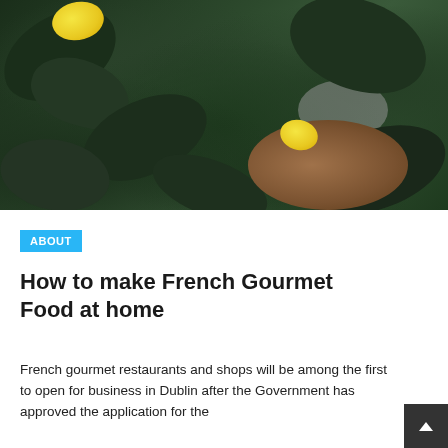[Figure (photo): Close-up photograph of dark green tropical plant leaves with yellow lemons/citrus fruits, and a wooden cutting board visible in the background. Light pink/neutral wall visible through the foliage.]
ABOUT
How to make French Gourmet Food at home
French gourmet restaurants and shops will be among the first to open for business in Dublin after the Government has approved the application for the